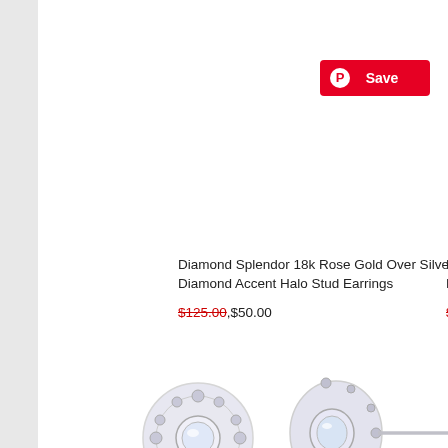[Figure (screenshot): Pinterest Save button in red with Pinterest circle-P icon]
Diamond Splendor 18k Rose Gold Over Silver Crystal & Diamond Accent Halo Stud Earrings
$125.00 $50.00
Diamond S Hoop Earr
$275.00 $1
[Figure (photo): Diamond halo stud earrings shown from front and side angle with post back, silver with crystal center and diamond accent halo]